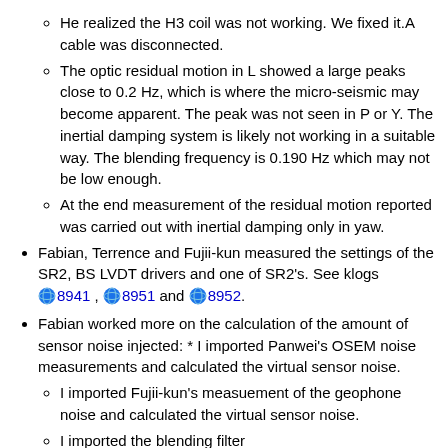He realized the H3 coil was not working. We fixed it. A cable was disconnected.
The optic residual motion in L showed a large peaks close to 0.2 Hz, which is where the micro-seismic may become apparent. The peak was not seen in P or Y. The inertial damping system is likely not working in a suitable way. The blending frequency is 0.190 Hz which may not be low enough.
At the end measurement of the residual motion reported was carried out with inertial damping only in yaw.
Fabian, Terrence and Fujii-kun measured the settings of the SR2, BS LVDT drivers and one of SR2's. See klogs 8941, 8951 and 8952.
Fabian worked more on the calculation of the amount of sensor noise injected: * I imported Panwei's OSEM noise measurements and calculated the virtual sensor noise.
I imported Fujii-kun's measuement of the geophone noise and calculated the virtual sensor noise.
I imported the blending filter
I wrote lots of comments in Sekiguchi-kun's Matlab scripts.
I will write a klog soon with preliminar results.